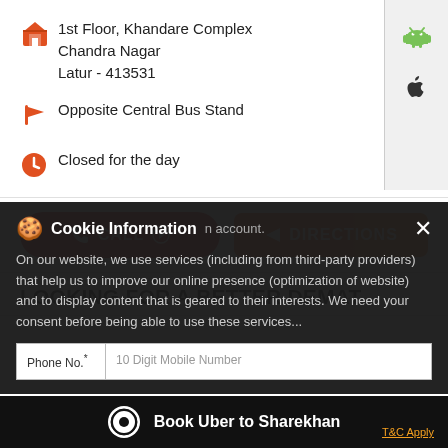1st Floor, Khandare Complex
Chandra Nagar
Latur - 413531
Opposite Central Bus Stand
Closed for the day
[Figure (screenshot): CALL button (red, rounded) and DIRECTIONS button (orange)]
[Figure (screenshot): Android and Apple app store icons on right side panel]
LOOKING FOR A BETTER DEMAT
On our website, we use services (including from third-party providers) that help us to improve our online presence (optimization of website) and to display content that is geared to their interests. We need your consent before being able to use these services...
Phone No.*	10 Digit Mobile Number
Book Uber to Sharekhan
T&C Apply